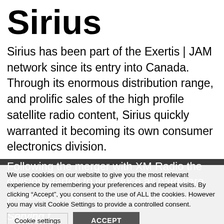Sirius
Sirius has been part of the Exertis | JAM network since its entry into Canada. Through its enormous distribution range, and prolific sales of the high profile satellite radio content, Sirius quickly warranted it becoming its own consumer electronics division.
Following the merger with XM Radio the division started to introduce all hardware produced under the Sirius XM banner.
Serving t...
We use cookies on our website to give you the most relevant experience by remembering your preferences and repeat visits. By clicking “Accept”, you consent to the use of ALL the cookies. However you may visit Cookie Settings to provide a controlled consent.